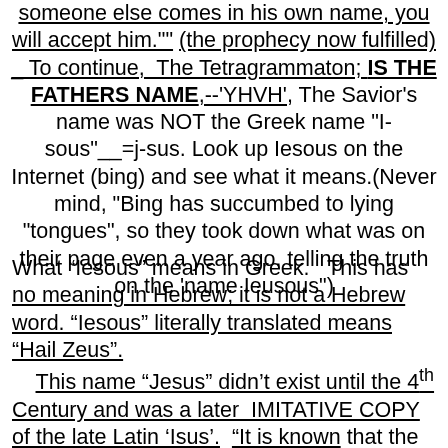someone else comes in his own name, you will accept him."" (the prophecy now fulfilled) _ To continue, The Tetragrammaton; IS THE FATHERS NAME,--'YHVH', The Savior's name was NOT the Greek name "I-sous" _ _ =j-sus. Look up Iesous on the Internet (bing) and see what it means.(Never mind, "Bing has succumbed to lying "tongues", so they took down what was on their page even a year ago, telling the truth on the 'name Ieusous")
What “Iesous” means in Greek. This has no meaning in Hebrew; it is not a Hebrew word. “Iesous” literally translated means “Hail Zeus”. This name “Jesus” didn’t exist until the 4th Century and was a later IMITATIVE COPY of the late Latin ‘Isus’. “It is known that the Greek name endings with sus, seus, and sous were attached by the Greeks to names as a means to give honor to their supreme deity.